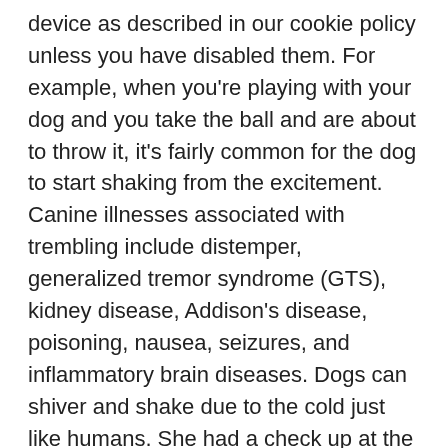device as described in our cookie policy unless you have disabled them. For example, when you're playing with your dog and you take the ball and are about to throw it, it's fairly common for the dog to start shaking from the excitement. Canine illnesses associated with trembling include distemper, generalized tremor syndrome (GTS), kidney disease, Addison's disease, poisoning, nausea, seizures, and inflammatory brain diseases. Dogs can shiver and shake due to the cold just like humans. She had a check up at the vets and nothing showed up. - Answered by a verified Dog Specialist . All the best to you both! My dog seems nervous, she is shaking like she got yelled at. Your dog feels sick. When my